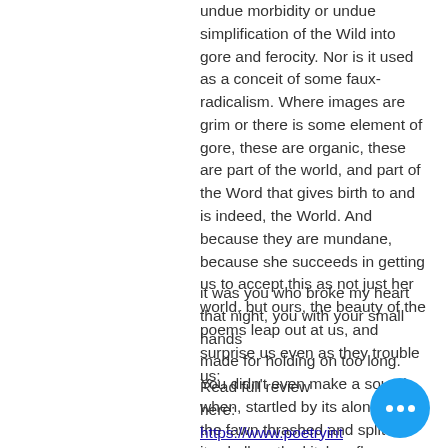undue morbidity or undue simplification of the Wild into gore and ferocity. Nor is it used as a conceit of some faux-radicalism. Where images are grim or there is some element of gore, these are organic, these are part of the world, and part of the Word that gives birth to and is indeed, the World. And because they are mundane, because she succeeds in getting us to accept this as not just her world, but ours, the beauty of the poems leap out at us, and surprise us even as they trouble us:
it was you who broke my heart
that night, you with your small hands
made for holding on too long.
You didn't even make a sound
when, startled by its aloneness,
the fawn thrashed and split
its skull on the kitchen floor. ('Doe', 11)
Read full review here:
https://www.poetryinternationalonline.com/primal-civilisation-on-danielle-boodoo-